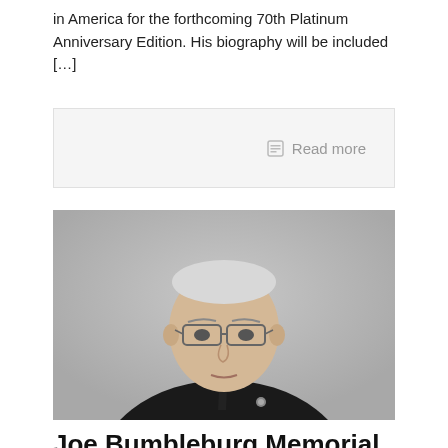in America for the forthcoming 70th Platinum Anniversary Edition. His biography will be included […]
Read more
[Figure (photo): Black and white portrait photo of an elderly man wearing glasses and a dark suit with a tie and lapel pin, facing forward with a neutral expression against a light gray background.]
Joe Bumbleburg Memorial Day Speaker